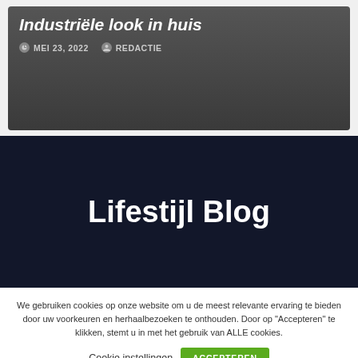Industriële look in huis
MEI 23, 2022  REDACTIE
Lifestijl Blog
We gebruiken cookies op onze website om u de meest relevante ervaring te bieden door uw voorkeuren en herhaalbezoeken te onthouden. Door op "Accepteren" te klikken, stemt u in met het gebruik van ALLE cookies.
Cookie instellingen  ACCEPTEREN